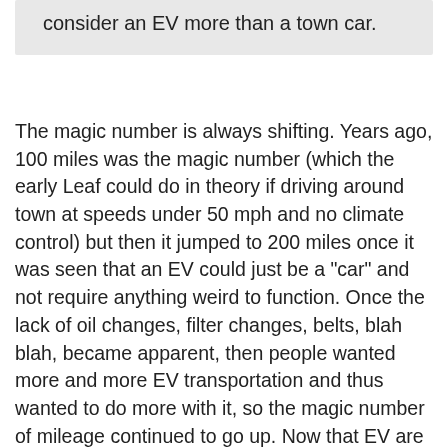consider an EV more than a town car.
The magic number is always shifting. Years ago, 100 miles was the magic number (which the early Leaf could do in theory if driving around town at speeds under 50 mph and no climate control) but then it jumped to 200 miles once it was seen that an EV could just be a "car" and not require anything weird to function. Once the lack of oil changes, filter changes, belts, blah blah, became apparent, then people wanted more and more EV transportation and thus wanted to do more with it, so the magic number of mileage continued to go up. Now that EV are all coming with either +200 miles of range or some options to get you +200 miles (Plus for Leaf for example), now people want it to do more, so the magic number is moving up again to +300 miles. Hence why the Ariya will be coming out in options for +300 miles of range. I'm